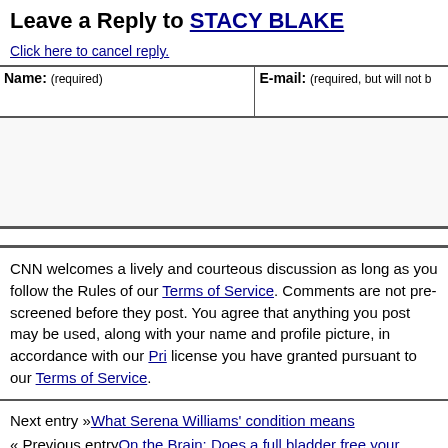Leave a Reply to STACY BLAKE
Click here to cancel reply.
| Name: (required) | E-mail: (required, but will not be published) |
| --- | --- |
|  |  |
CNN welcomes a lively and courteous discussion as long as you follow the Rules of our Terms of Service. Comments are not pre-screened before they post. You agree that anything you post may be used, along with your name and profile picture, in accordance with our Privacy Policy and the license you have granted pursuant to our Terms of Service.
Next entry »What Serena Williams' condition means
« Previous entryOn the Brain: Does a full bladder free your mind?